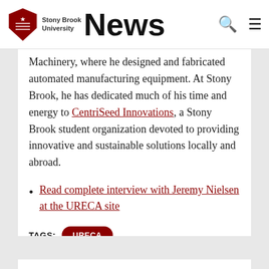Stony Brook University News
Machinery, where he designed and fabricated automated manufacturing equipment. At Stony Brook, he has dedicated much of his time and energy to CentriSeed Innovations, a Stony Brook student organization devoted to providing innovative and sustainable solutions locally and abroad.
Read complete interview with Jeremy Nielsen at the URECA site
TAGS: URECA